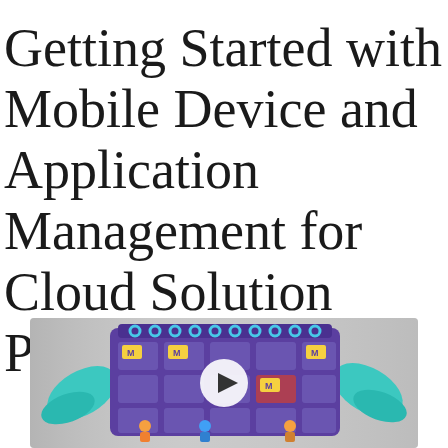Getting Started with Mobile Device and Application Management for Cloud Solution Providers
[Figure (illustration): Video thumbnail showing an illustrated scene with a purple calendar/planning board with sticky notes and figures, teal leaf shapes on sides, and a white play button in the center over a grey background.]